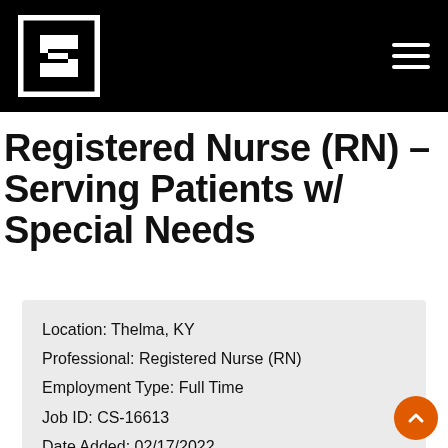[Figure (logo): White stylized S logo on black background with hamburger menu icon]
Registered Nurse (RN) – Serving Patients w/ Special Needs
Location: Thelma, KY
Professional: Registered Nurse (RN)
Employment Type: Full Time
Job ID: CS-16613
Date Added: 02/17/2022